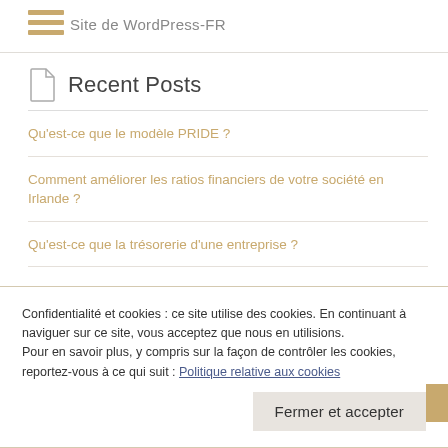Site de WordPress-FR
Recent Posts
Qu'est-ce que le modèle PRIDE ?
Comment améliorer les ratios financiers de votre société en Irlande ?
Qu'est-ce que la trésorerie d'une entreprise ?
Confidentialité et cookies : ce site utilise des cookies. En continuant à naviguer sur ce site, vous acceptez que nous en utilisions. Pour en savoir plus, y compris sur la façon de contrôler les cookies, reportez-vous à ce qui suit : Politique relative aux cookies
Fermer et accepter